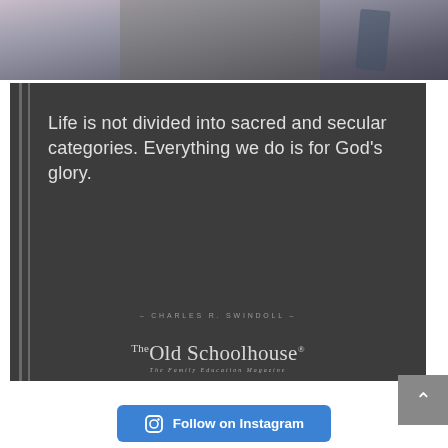[Figure (photo): Top portion of a photo showing hands, partially cropped, with dark background and book visible]
[Figure (infographic): Dark gray quote card with white vertical bar accents on left side, quote text reading 'Life is not divided into sacred and secular categories. Everything we do is for God's glory.' attributed to Charles R. Swindoll, with The Old Schoolhouse magazine logo at bottom]
[Figure (illustration): Blue 'Follow on Instagram' button at bottom of page with Instagram icon]